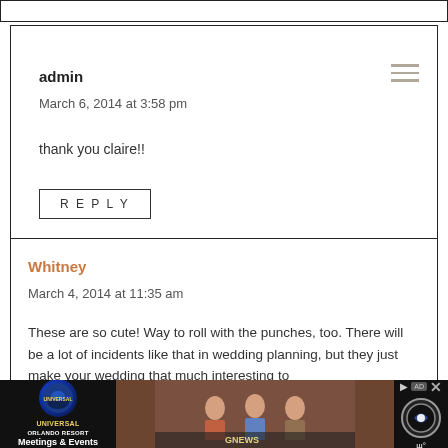admin
March 6, 2014 at 3:58 pm
thank you claire!!
REPLY
Whitney
March 4, 2014 at 11:35 am
These are so cute! Way to roll with the punches, too. There will be a lot of incidents like that in wedding planning, but they just make your wedding that much interesting to
[Figure (other): Advertisement banner: Universal Orlando Resort Meetings & Events with people image and news overlay]